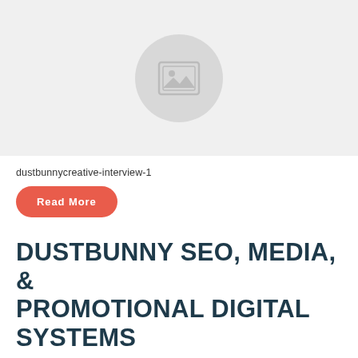[Figure (illustration): Placeholder image with a grey circle containing a landscape/photo icon (mountain and sun lines inside a rectangle frame)]
dustbunnycreative-interview-1
Read More
DUSTBUNNY SEO, MEDIA, & PROMOTIONAL DIGITAL SYSTEMS